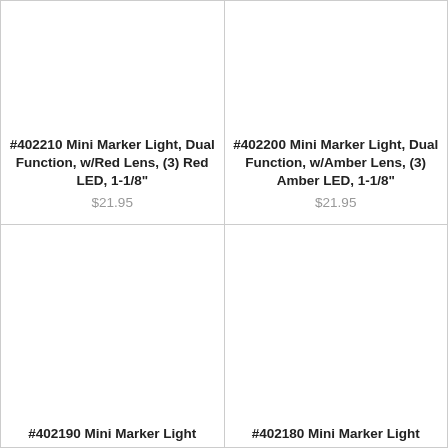#402210 Mini Marker Light, Dual Function, w/Red Lens, (3) Red LED, 1-1/8"
$21.95
#402200 Mini Marker Light, Dual Function, w/Amber Lens, (3) Amber LED, 1-1/8"
$21.95
#402190 Mini Marker Light
#402180 Mini Marker Light